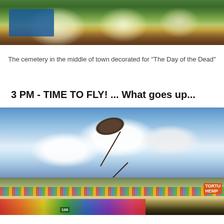[Figure (photo): Cemetery in the middle of town decorated with colorful flowers for 'The Day of the Dead', showing flower arrangements, a blue grave structure, and greenery.]
The cemetery in the middle of town decorated for "The Day of the Dead"
3 PM - TIME TO FLY! ... What goes up...
[Figure (photo): A large kite flying in a blue sky with white clouds over a stadium filled with crowds and colorful banners, at a Day of the Dead kite festival.]